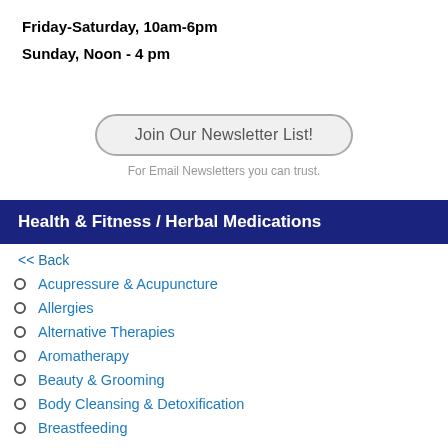Friday-Saturday, 10am-6pm
Sunday, Noon - 4 pm
Join Our Newsletter List!
For Email Newsletters you can trust.
Health & Fitness / Herbal Medications
<< Back
Acupressure & Acupuncture
Allergies
Alternative Therapies
Aromatherapy
Beauty & Grooming
Body Cleansing & Detoxification
Breastfeeding